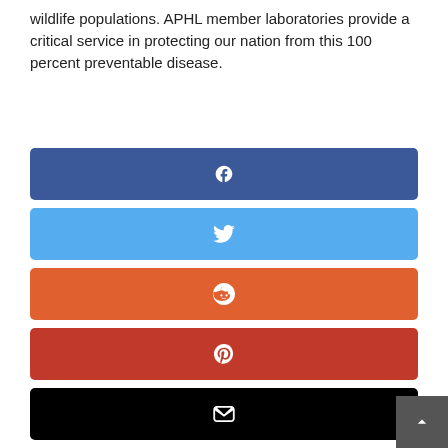wildlife populations. APHL member laboratories provide a critical service in protecting our nation from this 100 percent preventable disease.
[Figure (infographic): Social media share buttons: Facebook (blue-purple), Twitter (light blue), Reddit (orange), Pinterest (dark red), Email (black), LinkedIn (blue)]